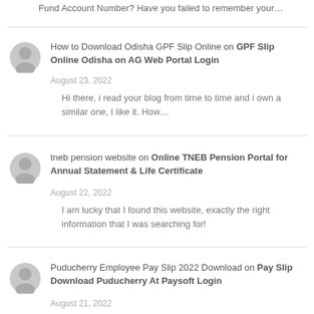Fund Account Number? Have you failed to remember your…
How to Download Odisha GPF Slip Online on GPF Slip Online Odisha on AG Web Portal Login
August 23, 2022
Hi there, i read your blog from time to time and i own a similar one, I like it. How…
tneb pension website on Online TNEB Pension Portal for Annual Statement & Life Certificate
August 22, 2022
I am lucky that I found this website, exactly the right information that I was searching for!
Puducherry Employee Pay Slip 2022 Download on Pay Slip Download Puducherry At Paysoft Login
August 21, 2022